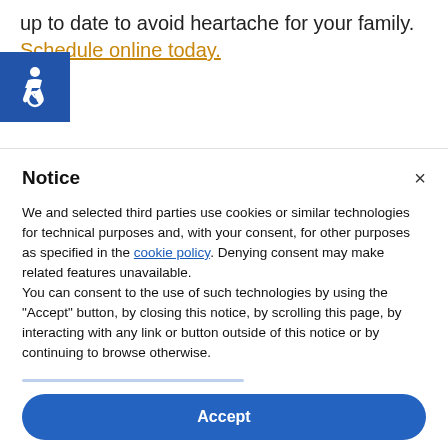up to date to avoid heartache for your family. Schedule online today.
[Figure (illustration): Blue accessibility icon button with wheelchair symbol]
Notice
We and selected third parties use cookies or similar technologies for technical purposes and, with your consent, for other purposes as specified in the cookie policy. Denying consent may make related features unavailable.
You can consent to the use of such technologies by using the "Accept" button, by closing this notice, by scrolling this page, by interacting with any link or button outside of this notice or by continuing to browse otherwise.
Accept
Learn more and customize